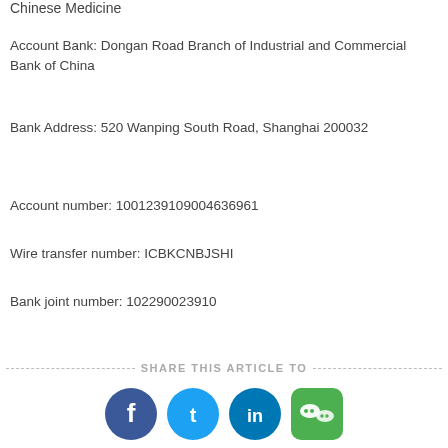Chinese Medicine
Account Bank: Dongan Road Branch of Industrial and Commercial Bank of China
Bank Address: 520 Wanping South Road, Shanghai 200032
Account number: 1001239109004636961
Wire transfer number: ICBKCNBJSHI
Bank joint number: 102290023910
[Figure (infographic): Share This Article To section with dashed lines and social media icons: Facebook, Twitter, LinkedIn, WeChat]